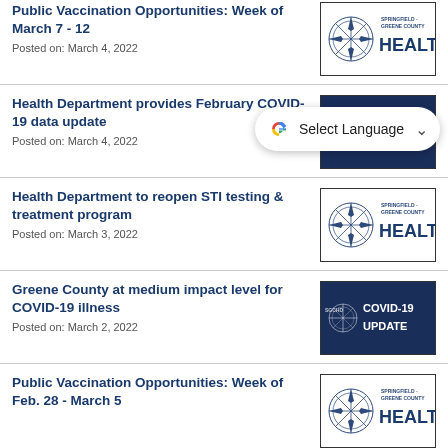Public Vaccination Opportunities: Week of March 7 - 12
Posted on: March 4, 2022
[Figure (logo): Springfield-Greene County Health department logo with compass rose]
Health Department provides February COVID-19 data update
Posted on: March 4, 2022
[Figure (screenshot): Dark blue image partially obscured by Google Translate Select Language overlay]
Health Department to reopen STI testing & treatment program
Posted on: March 3, 2022
[Figure (logo): Springfield-Greene County Health department logo with compass rose]
Greene County at medium impact level for COVID-19 illness
Posted on: March 2, 2022
[Figure (infographic): COVID-19 UPDATE dark blue image with SGCHD logo]
Public Vaccination Opportunities: Week of Feb. 28 - March 5
[Figure (logo): Springfield-Greene County Health department logo with compass rose]